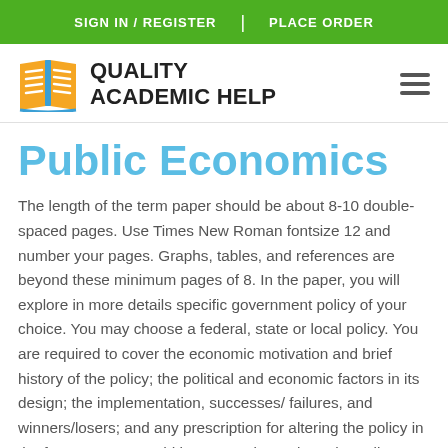SIGN IN / REGISTER | PLACE ORDER
[Figure (logo): Quality Academic Help logo with open book icon in yellow/gold and text 'QUALITY ACADEMIC HELP' in bold black]
Public Economics
The length of the term paper should be about 8-10 double-spaced pages. Use Times New Roman fontsize 12 and number your pages. Graphs, tables, and references are beyond these minimum pages of 8. In the paper, you will explore in more details specific government policy of your choice. You may choose a federal, state or local policy. You are required to cover the economic motivation and brief history of the policy; the political and economic factors in its design; the implementation, successes/ failures, and winners/losers; and any prescription for altering the policy in the future. You can add how your views about the policy